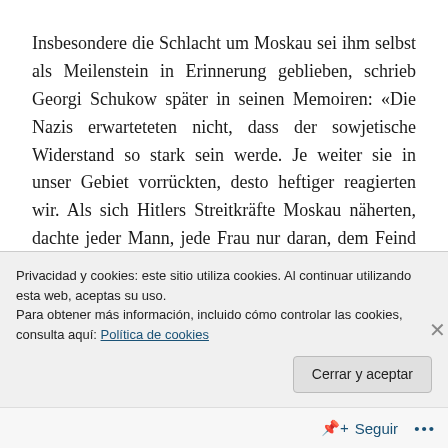Insbesondere die Schlacht um Moskau sei ihm selbst als Meilenstein in Erinnerung geblieben, schrieb Georgi Schukow später in seinen Memoiren: «Die Nazis erwarteteten nicht, dass der sowjetische Widerstand so stark sein werde. Je weiter sie in unser Gebiet vorrückten, desto heftiger reagierten wir. Als sich Hitlers Streitkräfte Moskau näherten, dachte jeder Mann, jede Frau nur daran, dem Feind Widerstand zu leisten. Die deutsche Wehrmacht erlitt grosse Verluste, einen Verlust nach dem
Privacidad y cookies: este sitio utiliza cookies. Al continuar utilizando esta web, aceptas su uso.
Para obtener más información, incluido cómo controlar las cookies, consulta aquí: Política de cookies
Cerrar y aceptar
Seguir